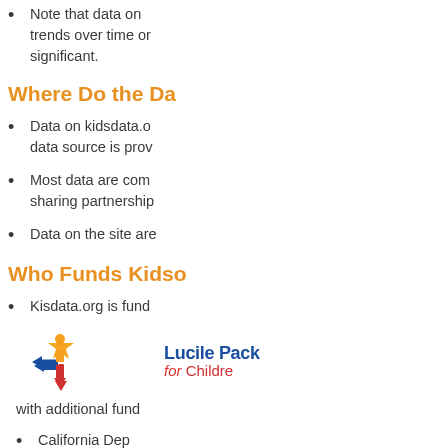Note that data on trends over time or significant.
Where Do the Da
Data on kidsdata.o data source is prov
Most data are com sharing partnership
Data on the site are
Who Funds Kidso
Kisdata.org is fund
[Figure (logo): Lucile Packard Foundation for Children logo with colorful star/person icon]
with additional fund
California Dep Essentials for